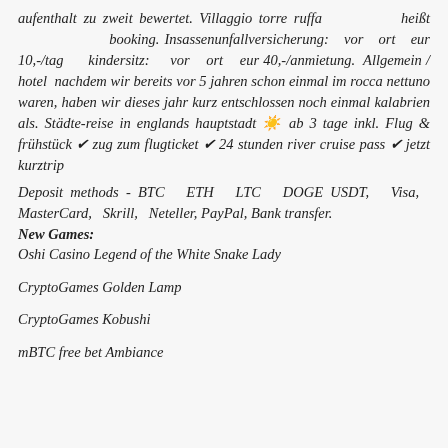aufenthalt zu zweit bewertet. Villaggio torre ruffa heißt booking. Insassenunfallversicherung: vor ort eur 10,-/tag kindersitz: vor ort eur 40,-/anmietung. Allgemein / hotel nachdem wir bereits vor 5 jahren schon einmal im rocca nettuno waren, haben wir dieses jahr kurz entschlossen noch einmal kalabrien als. Städte-reise in englands hauptstadt ☀ ab 3 tage inkl. Flug & frühstück ✔ zug zum flugticket ✔ 24 stunden river cruise pass ✔ jetzt kurztrip
Deposit methods - BTC ETH LTC DOGE USDT, Visa, MasterCard, Skrill, Neteller, PayPal, Bank transfer.
New Games:
Oshi Casino Legend of the White Snake Lady
CryptoGames Golden Lamp
CryptoGames Kobushi
mBTC free bet Ambiance